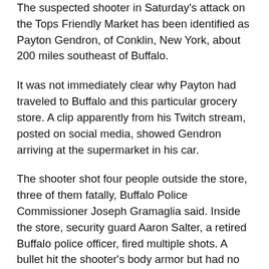The suspected shooter in Saturday's attack on the Tops Friendly Market has been identified as Payton Gendron, of Conklin, New York, about 200 miles southeast of Buffalo.
It was not immediately clear why Payton had traveled to Buffalo and this particular grocery store. A clip apparently from his Twitch stream, posted on social media, showed Gendron arriving at the supermarket in his car.
The shooter shot four people outside the store, three of them fatally, Buffalo Police Commissioner Joseph Gramaglia said. Inside the store, security guard Aaron Salter, a retired Buffalo police officer, fired multiple shots. A bullet hit the shooter's body armor but had no effect, Gramaglia said.